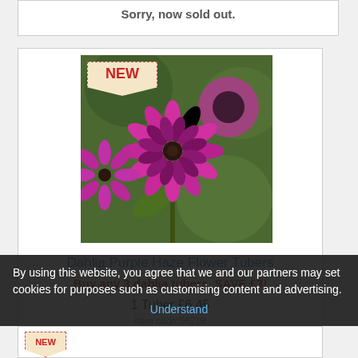Sorry, now sold out.
[Figure (photo): Photo of Dahlia Purple Haze flowers — deep magenta/purple blooms with dark centers on green foliage background. A 'NEW' badge is overlaid in the top-left corner.]
Dahlia Purple Haze Flower Tubers
Buy any 3 dahlia tubers, SAVE £3!
1 Tuber £6.45
Item code:56218
More Info   Add To Basket
By using this website, you agree that we and our partners may set cookies for purposes such as customising content and advertising.
Understand